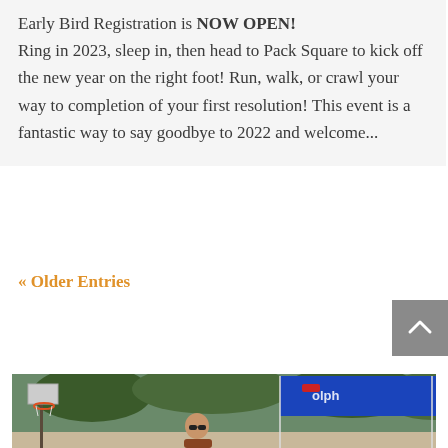Early Bird Registration is NOW OPEN! Ring in 2023, sleep in, then head to Pack Square to kick off the new year on the right foot! Run, walk, or crawl your way to completion of your first resolution! This event is a fantastic way to say goodbye to 2022 and welcome...
« Older Entries
[Figure (photo): Outdoor event photo showing a basketball hoop on the left, a blue canopy/tent with partial text on the right, green trees in the background, and a person with sunglasses in the foreground.]